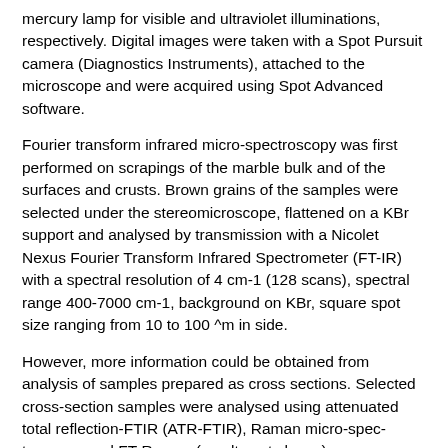mercury lamp for visible and ultraviolet illuminations, respectively. Digital images were taken with a Spot Pursuit camera (Diagnostics Instruments), attached to the microscope and were acquired using Spot Advanced software.
Fourier transform infrared micro-spectroscopy was first performed on scrapings of the marble bulk and of the surfaces and crusts. Brown grains of the samples were selected under the stereomicroscope, flattened on a KBr support and analysed by transmission with a Nicolet Nexus Fourier Transform Infrared Spectrometer (FT-IR) with a spectral resolution of 4 cm-1 (128 scans), spectral range 400-7000 cm-1, background on KBr, square spot size ranging from 10 to 100 ^m in side.
However, more information could be obtained from analysis of samples prepared as cross sections. Selected cross-section samples were analysed using attenuated total reflection-FTIR (ATR-FTIR), Raman micro-spec-troscopy, and FT-Raman (results not shown).